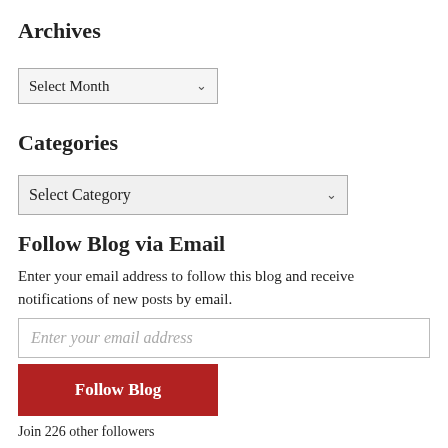Archives
[Figure (screenshot): Dropdown menu showing 'Select Month' with a down arrow, styled as a form select element]
Categories
[Figure (screenshot): Dropdown menu showing 'Select Category' with a down arrow, styled as a form select element]
Follow Blog via Email
Enter your email address to follow this blog and receive notifications of new posts by email.
[Figure (screenshot): Email input field with placeholder text 'Enter your email address']
[Figure (screenshot): Red button labeled 'Follow Blog']
Join 226 other followers